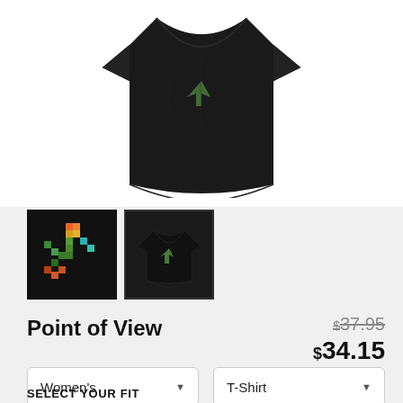[Figure (photo): Product photo of a black women's t-shirt shown from the back/front on a white background. The shirt is dark black with a curved hem.]
[Figure (photo): Thumbnail 1: colorful logo/design on black background showing a pixelated arrow or star shape with orange, green, teal colors]
[Figure (photo): Thumbnail 2: small t-shirt product image on dark background with a green arrow logo, selected thumbnail (has border)]
Point of View
$37.95 $34.15
Women's
T-Shirt
SELECT YOUR FIT